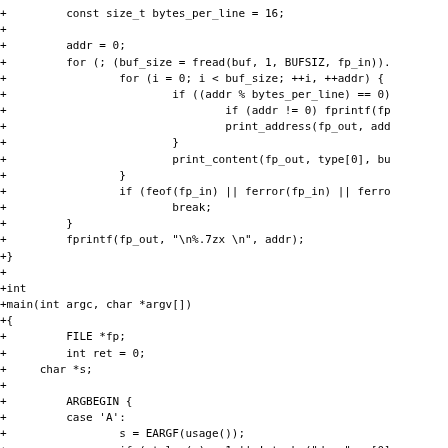+         const size_t bytes_per_line = 16;
+
+         addr = 0;
+         for (; (buf_size = fread(buf, 1, BUFSIZ, fp_in)).
+                 for (i = 0; i < buf_size; ++i, ++addr) {
+                         if ((addr % bytes_per_line) == 0)
+                                 if (addr != 0) fprintf(fp
+                                 print_address(fp_out, add
+                         }
+                         print_content(fp_out, type[0], bu
+                 }
+                 if (feof(fp_in) || ferror(fp_in) || ferro
+                         break;
+         }
+         fprintf(fp_out, "\n%.7zx \n", addr);
+}
+
+int
+main(int argc, char *argv[])
+{
+         FILE *fp;
+         int ret = 0;
+     char *s;
+
+         ARGBEGIN {
+         case 'A':
+                 s = EARGF(usage());
+                 if (strlen(s) > 1 || !strchr("doxn", s[0]
+                         usage();
+                 addr_radix = s[0];